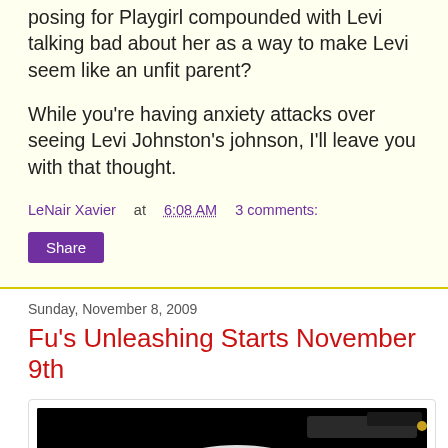posing for Playgirl compounded with Levi talking bad about her as a way to make Levi seem like an unfit parent?
While you're having anxiety attacks over seeing Levi Johnston's johnson, I'll leave you with that thought.
LeNair Xavier at 6:08 AM   3 comments:
Share
Sunday, November 8, 2009
Fu's Unleashing Starts November 9th
[Figure (photo): Dark/black background image showing gloved hands holding a gun, with red stylized text at the bottom]